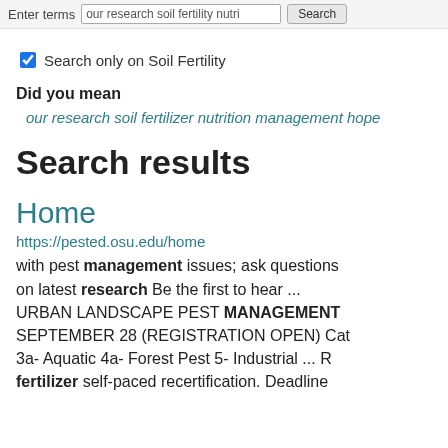Enter terms: our research soil fertility nutri  [Search]
Search only on Soil Fertility
Did you mean
our research soil fertilizer nutrition management hope
Search results
Home
https://pested.osu.edu/home
with pest management issues; ask questions on latest research Be the first to hear ... URBAN LANDSCAPE PEST MANAGEMENT SEPTEMBER 28 (REGISTRATION OPEN) Cat 3a- Aquatic 4a- Forest Pest 5- Industrial ... R fertilizer self-paced recertification. Deadline